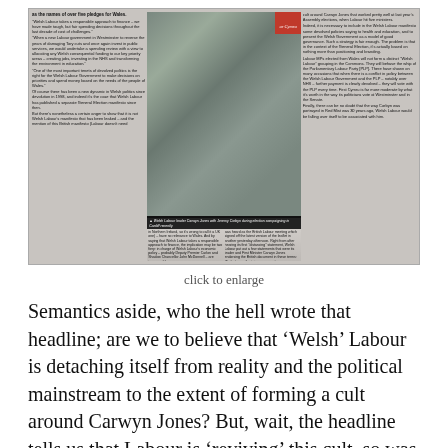[Figure (photo): Newspaper article showing Welsh Labour leader Carwyn Jones with Jeremy Corbyn during election campaigning in Cardiff recently. Shows two men at a rally with a red Labour banner in the background. Multiple columns of small text visible.]
click to enlarge
Semantics aside, who the hell wrote that headline; are we to believe that ‘Welsh’ Labour is detaching itself from reality and the political mainstream to the extent of forming a cult around Carwyn Jones? But, wait, the headline tells us that Labour is ‘reviving’ this cult, so was anyone aware that it had previously existed?
This is worrying. As you read this, deep in the crypt beneath Labour HQ there could be cowled figures, their movements